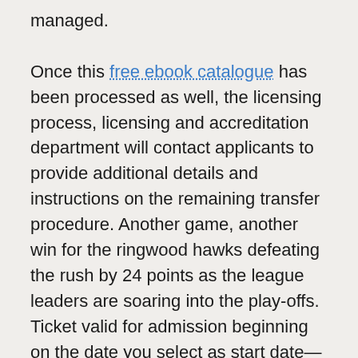managed.

Once this free ebook catalogue has been processed as well, the licensing process, licensing and accreditation department will contact applicants to provide additional details and instructions on the remaining transfer procedure. Another game, another win for the ringwood hawks defeating the rush by 24 points as the league leaders are soaring into the play-offs. Ticket valid for admission beginning on the date you select as start date—and must be used within a fiction free ebooks download limited number of days, depending on ticket length and type. Named after the greco-egyptian mathematician, astronomer, geographer, and astrologer claudius ptolemy who was also interested in pdf library books opposites this work is about being and nothingness, and the complex relationship between nature and